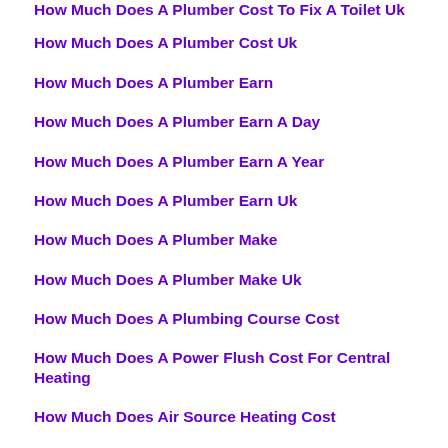How Much Does A Plumber Cost To Fix A Toilet Uk
How Much Does A Plumber Cost Uk
How Much Does A Plumber Earn
How Much Does A Plumber Earn A Day
How Much Does A Plumber Earn A Year
How Much Does A Plumber Earn Uk
How Much Does A Plumber Make
How Much Does A Plumber Make Uk
How Much Does A Plumbing Course Cost
How Much Does A Power Flush Cost For Central Heating
How Much Does Air Source Heating Cost